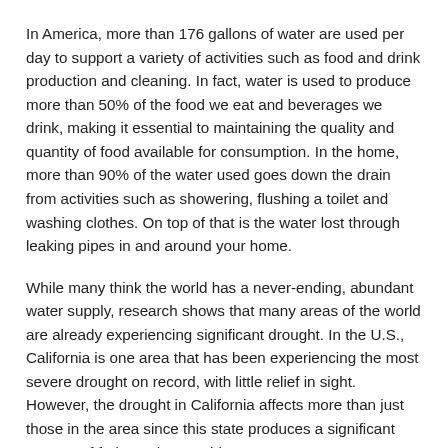In America, more than 176 gallons of water are used per day to support a variety of activities such as food and drink production and cleaning. In fact, water is used to produce more than 50% of the food we eat and beverages we drink, making it essential to maintaining the quality and quantity of food available for consumption. In the home, more than 90% of the water used goes down the drain from activities such as showering, flushing a toilet and washing clothes. On top of that is the water lost through leaking pipes in and around your home.
While many think the world has a never-ending, abundant water supply, research shows that many areas of the world are already experiencing significant drought. In the U.S., California is one area that has been experiencing the most severe drought on record, with little relief in sight. However, the drought in California affects more than just those in the area since this state produces a significant amount of fruits and vegetables.